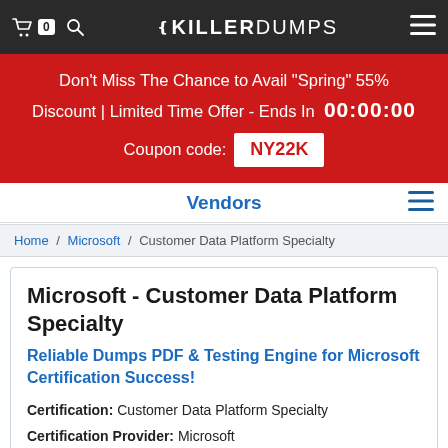KillerDumps - Cart 0 / Search / Menu
Don't Miss The Chance to Avail "Spring" 55% Discount | Limited Time Offer - Ends In 00:00:00 Coupon code: NY22K
Vendors
Home / Microsoft / Customer Data Platform Specialty
Microsoft - Customer Data Platform Specialty
Reliable Dumps PDF & Testing Engine for Microsoft Certification Success!
Certification: Customer Data Platform Specialty
Certification Provider: Microsoft
Certification Exams: MB-260,